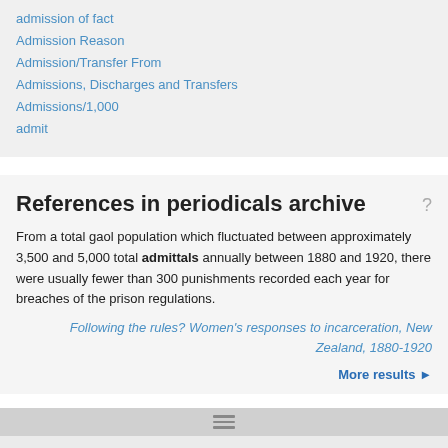admission of fact
Admission Reason
Admission/Transfer From
Admissions, Discharges and Transfers
Admissions/1,000
admit
References in periodicals archive
From a total gaol population which fluctuated between approximately 3,500 and 5,000 total admittals annually between 1880 and 1920, there were usually fewer than 300 punishments recorded each year for breaches of the prison regulations.
Following the rules? Women's responses to incarceration, New Zealand, 1880-1920
More results ►